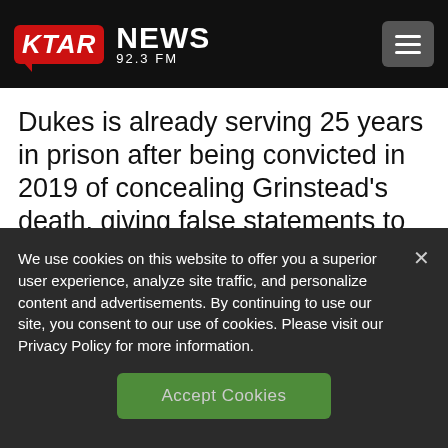KTAR NEWS 92.3 FM
Dukes is already serving 25 years in prison after being convicted in 2019 of concealing Grinstead’s death, giving false statements to investigators and hindering the apprehension of a criminal.
We use cookies on this website to offer you a superior user experience, analyze site traffic, and personalize content and advertisements. By continuing to use our site, you consent to our use of cookies. Please visit our Privacy Policy for more information.
Accept Cookies